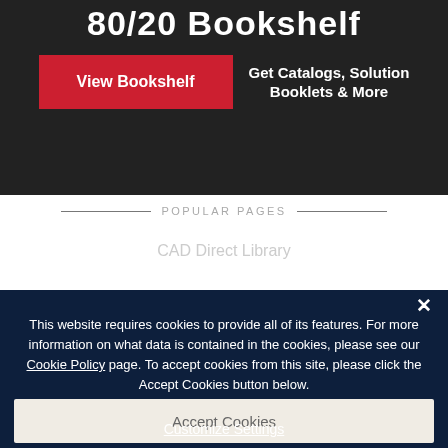80/20 Bookshelf
[Figure (screenshot): Red 'View Bookshelf' button on dark background]
Get Catalogs, Solution Booklets & More
POPULAR PAGES
CAD Direct Library
AutoQuoterX® II
Training
Product Toolbox
Literature Requests
GENERAL INFO
This website requires cookies to provide all of its features. For more information on what data is contained in the cookies, please see our Cookie Policy page. To accept cookies from this site, please click the Accept Cookies button below.
Accept Cookies
Customize Settings